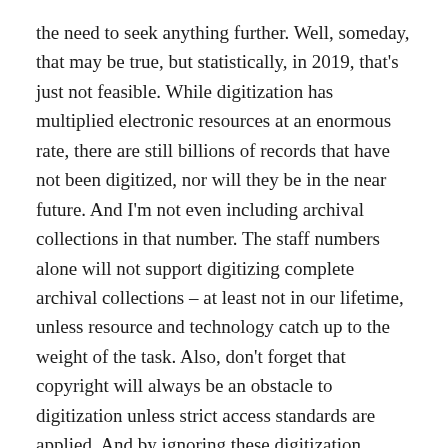the need to seek anything further. Well, someday, that may be true, but statistically, in 2019, that's just not feasible. While digitization has multiplied electronic resources at an enormous rate, there are still billions of records that have not been digitized, nor will they be in the near future. And I'm not even including archival collections in that number. The staff numbers alone will not support digitizing complete archival collections – at least not in our lifetime, unless resource and technology catch up to the weight of the task. Also, don't forget that copyright will always be an obstacle to digitization unless strict access standards are applied. And by ignoring these digitization limitation facts, your information seeking behavior will fall flat in the success department.
GENEALOGY BOOK OF THE DAY: